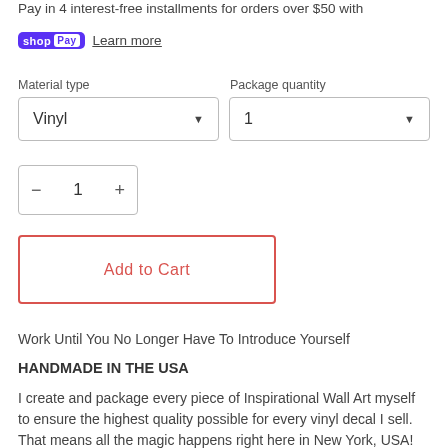Pay in 4 interest-free installments for orders over $50 with shop Pay Learn more
Material type
Package quantity
Vinyl
1
1
Add to Cart
Work Until You No Longer Have To Introduce Yourself
HANDMADE IN THE USA
I create and package every piece of Inspirational Wall Art myself to ensure the highest quality possible for every vinyl decal I sell. That means all the magic happens right here in New York, USA!